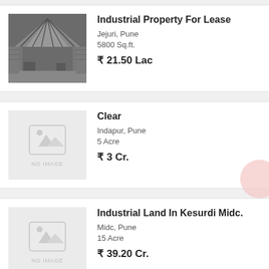[Figure (photo): Photo of industrial warehouse interior with metal roof and columns]
Industrial Property For Lease
Jejuri, Pune
5800 Sq.ft.
₹ 21.50 Lac
[Figure (photo): No image placeholder for property listing]
Clear
Indapur, Pune
5 Acre
₹ 3 Cr.
[Figure (photo): No image placeholder for property listing]
Industrial Land In Kesurdi Midc.
Midc, Pune
15 Acre
₹ 39.20 Cr.